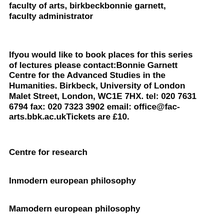faculty of arts, birkbeckbonnie garnett, faculty administrator
Ifyou would like to book places for this series of lectures please contact:Bonnie Garnett Centre for the Advanced Studies in the Humanities. Birkbeck, University of London Malet Street, London, WC1E 7HX. tel: 020 7631 6794 fax: 020 7323 3902 email: office@fac-arts.bbk.ac.ukTickets are £10.
Centre for research
Inmodern european philosophy
Mamodern european philosophy